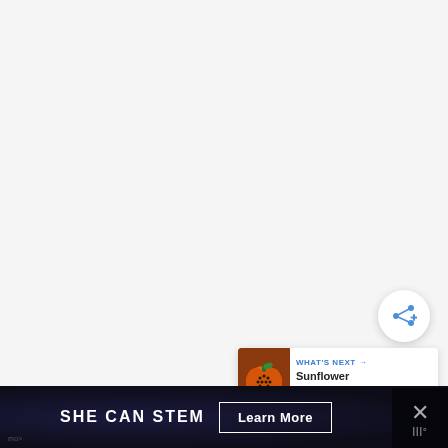[Figure (screenshot): Light gray blank main content area of a webpage]
[Figure (other): Circular white share button with share icon (arrow with dots) in bottom-right area]
[Figure (other): What's Next card showing a pumpkin thumbnail image with label 'WHAT'S NEXT →' and title 'Sunflower Pumpkin Do...']
|||°
[Figure (other): Dark navy advertisement bar at bottom with 'SHE CAN STEM' brand text and 'Learn More' CTA button, with close X button on right side]